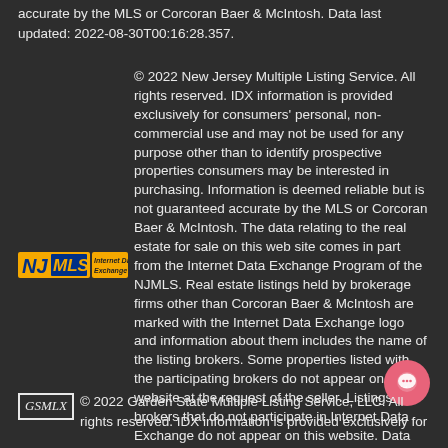accurate by the MLS or Corcoran Baer & McIntosh. Data last updated: 2022-08-30T00:16:28.357.
[Figure (logo): NJMLS Internet Data Exchange logo]
© 2022 New Jersey Multiple Listing Service. All rights reserved. IDX information is provided exclusively for consumers' personal, non-commercial use and may not be used for any purpose other than to identify prospective properties consumers may be interested in purchasing. Information is deemed reliable but is not guaranteed accurate by the MLS or Corcoran Baer & McIntosh. The data relating to the real estate for sale on this web site comes in part from the Internet Data Exchange Program of the NJMLS. Real estate listings held by brokerage firms other than Corcoran Baer & McIntosh are marked with the Internet Data Exchange logo and information about them includes the name of the listing brokers. Some properties listed with the participating brokers do not appear on this website at the request of the seller. Listings of brokers that do not participate in Internet Data Exchange do not appear on this website. Data last updated: 2022-08-30T00:16:14.05.
[Figure (logo): GSMLX Garden State Multiple Listing Service logo]
© 2022 Garden State Multiple Listing Service, LLC. All rights reserved. IDX information is provided exclusively for